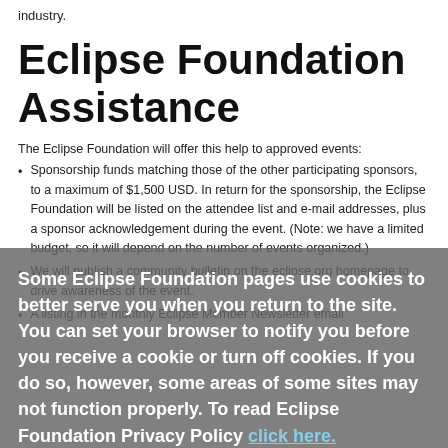industry.
Eclipse Foundation Assistance
The Eclipse Foundation will offer this help to approved events:
Sponsorship funds matching those of the other participating sponsors, to a maximum of $1,500 USD. In return for the sponsorship, the Eclipse Foundation will be listed on the attendee list and e-mail addresses, plus a sponsor acknowledgement during the event. (Note: we have a limited budget, so it will depend on the number of events organized.)
We will publish a community bulletin on the eclipse.org homepage to drive awareness of the event.
A listing in the monthly Eclipse Member Newsletter email
Some Eclipse Foundation pages use cookies to better serve you when you return to the site. You can set your browser to notify you before you receive a cookie or turn off cookies. If you do so, however, some areas of some sites may not function properly. To read Eclipse Foundation Privacy Policy click here.